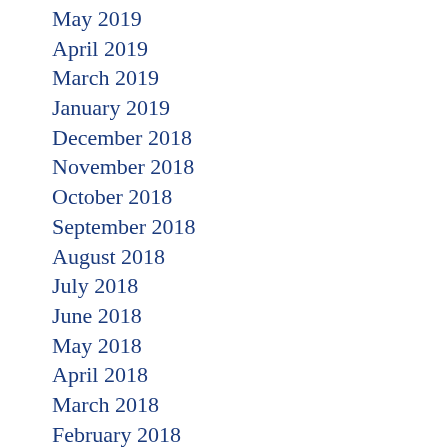May 2019
April 2019
March 2019
January 2019
December 2018
November 2018
October 2018
September 2018
August 2018
July 2018
June 2018
May 2018
April 2018
March 2018
February 2018
January 2018
December 2017
November 2017